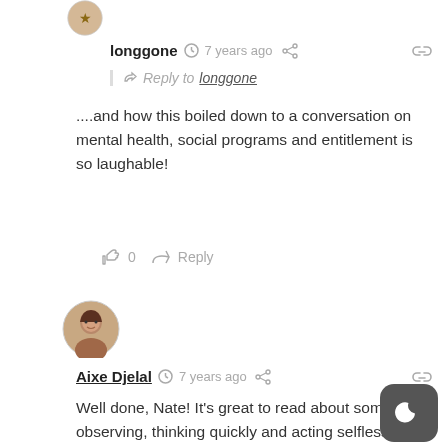longgone · 7 years ago
Reply to longgone
....and how this boiled down to a conversation on mental health, social programs and entitlement is so laughable!
0 · Reply
Aixe Djelal · 7 years ago
Well done, Nate! It's great to read about someone observing, thinking quickly and acting selflessly to do the right thing. Last week I was excited about Megan Holcomb recovering her stolen bike, but the story soured for me when I realized she paid a ransom for it and presumably